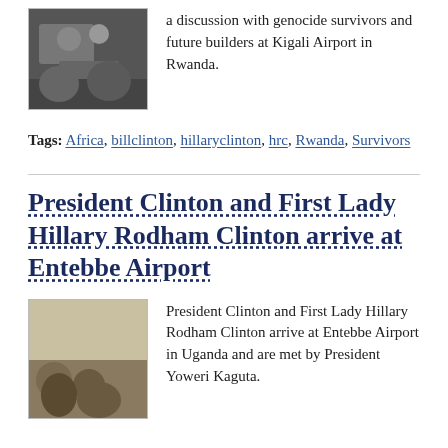[Figure (photo): Black and white photo of people at a gathering, likely at Kigali Airport Rwanda]
Hillary Rodham Clinton participates in a discussion with genocide survivors and future builders at Kigali Airport in Rwanda.
Tags: Africa, billclinton, hillaryclinton, hrc, Rwanda, Survivors
President Clinton and First Lady Hillary Rodham Clinton arrive at Entebbe Airport
[Figure (photo): Color photo of people gathered at Entebbe Airport Uganda with colorful umbrellas]
President Clinton and First Lady Hillary Rodham Clinton arrive at Entebbe Airport in Uganda and are met by President Yoweri Kaguta.